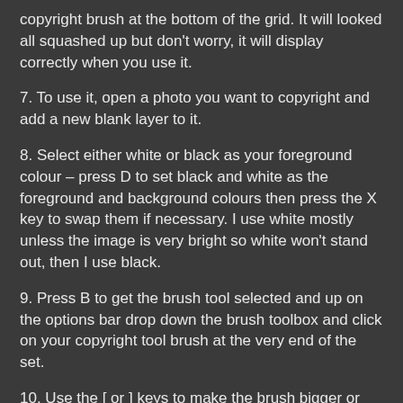copyright brush at the bottom of the grid. It will looked all squashed up but don't worry, it will display correctly when you use it.
7. To use it, open a photo you want to copyright and add a new blank layer to it.
8. Select either white or black as your foreground colour – press D to set black and white as the foreground and background colours then press the X key to swap them if necessary. I use white mostly unless the image is very bright so white won't stand out, then I use black.
9. Press B to get the brush tool selected and up on the options bar drop down the brush toolbox and click on your copyright tool brush at the very end of the set.
10. Use the [ or ] keys to make the brush bigger or smaller
11. Click on your image where you want the copyright info to